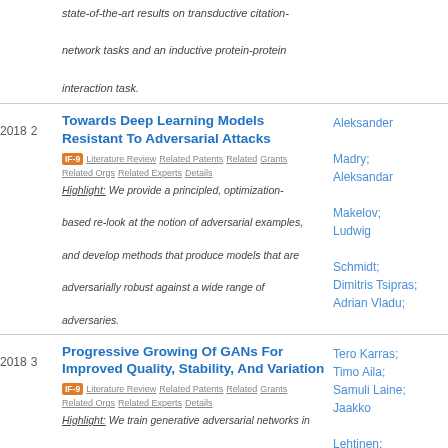state-of-the-art results on transductive citation-network tasks and an inductive protein-protein interaction task.
Towards Deep Learning Models Resistant To Adversarial Attacks
IF-9  Literature Review  Related Patents  Related Grants  Related Orgs  Related Experts  Details
Highlight: We provide a principled, optimization-based re-look at the notion of adversarial examples, and develop methods that produce models that are adversarially robust against a wide range of adversaries.
Aleksander Madry; Aleksandar Makelov; Ludwig Schmidt; Dimitris Tsipras; Adrian Vladu;
Progressive Growing Of GANs For Improved Quality, Stability, And Variation
IF-9  Literature Review  Related Patents  Related Grants  Related Orgs  Related Experts  Details
Highlight: We train generative adversarial networks in a progressive fashion, enabling us to generate high-
Tero Karras; Timo Aila; Samuli Laine; Jaakko Lehtinen;